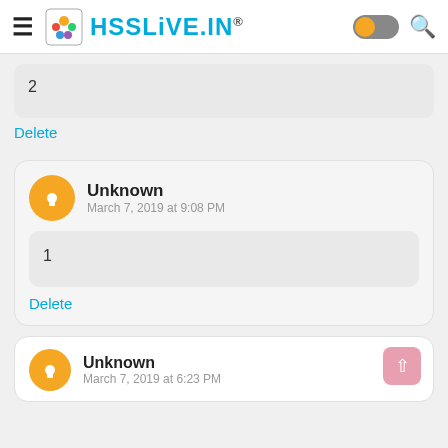HSSLiVE.IN®
2
Delete
Unknown
March 7, 2019 at 9:08 PM
1
Delete
Unknown
March 7, 2019 at 6:23 PM